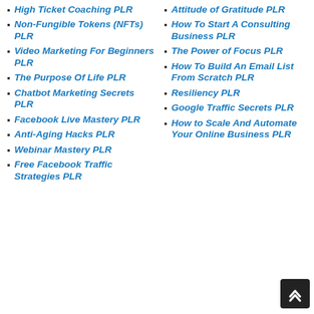High Ticket Coaching PLR
Non-Fungible Tokens (NFTs) PLR
Video Marketing For Beginners PLR
The Purpose Of Life PLR
Chatbot Marketing Secrets PLR
Facebook Live Mastery PLR
Anti-Aging Hacks PLR
Webinar Mastery PLR
Free Facebook Traffic Strategies PLR
Attitude of Gratitude PLR
How To Start A Consulting Business PLR
The Power of Focus PLR
How To Build An Email List From Scratch PLR
Resiliency PLR
Google Traffic Secrets PLR
How to Scale And Automate Your Online Business PLR